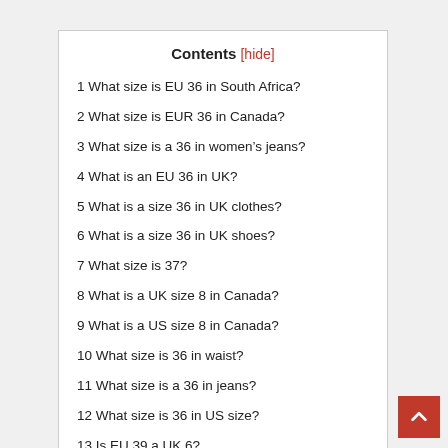Contents [hide]
1 What size is EU 36 in South Africa?
2 What size is EUR 36 in Canada?
3 What size is a 36 in women’s jeans?
4 What is an EU 36 in UK?
5 What is a size 36 in UK clothes?
6 What is a size 36 in UK shoes?
7 What size is 37?
8 What is a UK size 8 in Canada?
9 What is a US size 8 in Canada?
10 What size is 36 in waist?
11 What size is a 36 in jeans?
12 What size is 36 in US size?
13 Is EU 39 a UK 6?